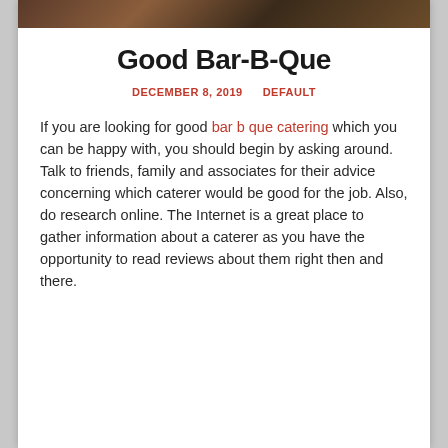[Figure (photo): Hero image at top of blog post, showing BBQ food, dark brown tones]
Good Bar-B-Que
DECEMBER 8, 2019    DEFAULT
If you are looking for good bar b que catering which you can be happy with, you should begin by asking around. Talk to friends, family and associates for their advice concerning which caterer would be good for the job. Also, do research online. The Internet is a great place to gather information about a caterer as you have the opportunity to read reviews about them right then and there.